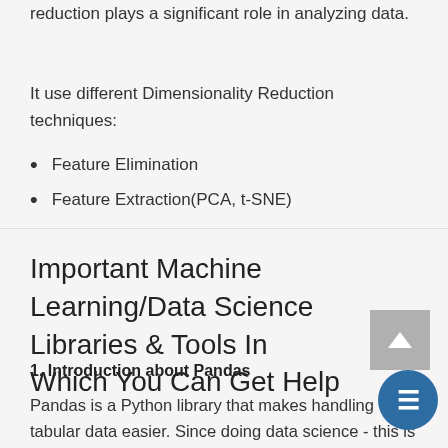reduction plays a significant role in analyzing data.
It use different Dimensionality Reduction techniques:
Feature Elimination
Feature Extraction(PCA, t-SNE)
Important Machine Learning/Data Science Libraries & Tools In Which You Can Get Help
1. Introduction about Pandas
Pandas is a Python library that makes handling tabular data easier. Since doing data science - this is something